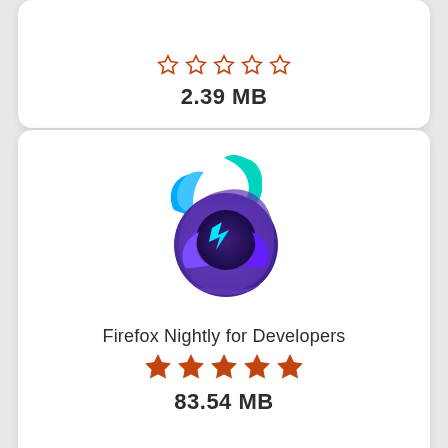2.39 MB
[Figure (logo): Firefox Nightly for Developers app icon — a stylized fox with blue, purple, teal and cyan flame/orbit design]
Firefox Nightly for Developers
83.54 MB